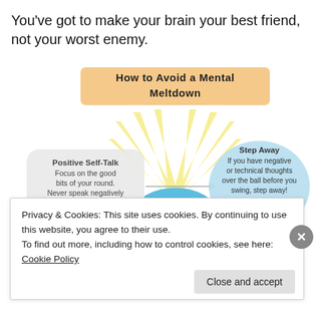You've got to make your brain your best friend, not your worst enemy.
[Figure (infographic): Infographic titled 'How to Avoid a Mental Meltdown' showing a sun with rays in the center. Left bubble: 'Positive Self-Talk — Focus on the good bits of your round. Never speak negatively about yourself.' Right bubble: 'Step Away — If you have negative or technical thoughts over the ball before you swing, step away!' with an arrow pointing from the left bubble toward the right. A blue semicircle (head/golf ball) is at the bottom center.]
Privacy & Cookies: This site uses cookies. By continuing to use this website, you agree to their use.
To find out more, including how to control cookies, see here: Cookie Policy